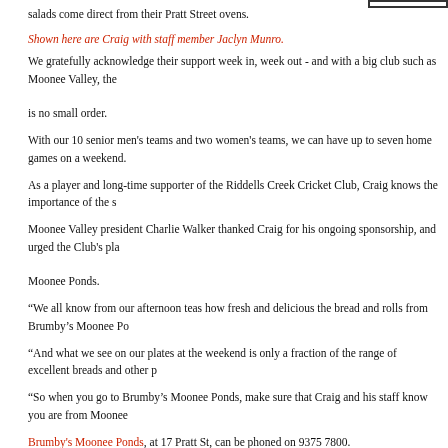salads come direct from their Pratt Street ovens.
Shown here are Craig with staff member Jaclyn Munro.
We gratefully acknowledge their support week in, week out - and with a big club such as Moonee Valley, the is no small order.
With our 10 senior men's teams and two women's teams, we can have up to seven home games on a weekend.
As a player and long-time supporter of the Riddells Creek Cricket Club, Craig knows the importance of the s
Moonee Valley president Charlie Walker thanked Craig for his ongoing sponsorship, and urged the Club's pla Moonee Ponds.
“We all know from our afternoon teas how fresh and delicious the bread and rolls from Brumby’s Moonee Po
“And what we see on our plates at the weekend is only a fraction of the range of excellent breads and other p
“So when you go to Brumby’s Moonee Ponds, make sure that Craig and his staff know you are from Moonee
Brumby's Moonee Ponds, at 17 Pratt St, can be phoned on 9375 7800.
The big hitters come out on a Valley weekend